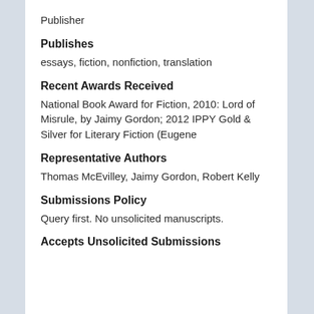Publisher
Publishes
essays, fiction, nonfiction, translation
Recent Awards Received
National Book Award for Fiction, 2010: Lord of Misrule, by Jaimy Gordon; 2012 IPPY Gold & Silver for Literary Fiction (Eugene
Representative Authors
Thomas McEvilley, Jaimy Gordon, Robert Kelly
Submissions Policy
Query first. No unsolicited manuscripts.
Accepts Unsolicited Submissions